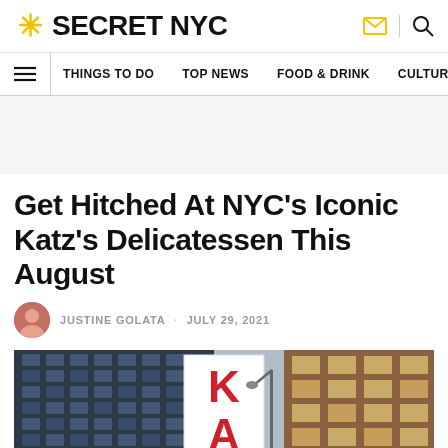SECRET NYC
THINGS TO DO · TOP NEWS · FOOD & DRINK · CULTURE
Get Hitched At NYC's Iconic Katz's Delicatessen This August
JUSTINE GOLATA · JULY 29, 2021
[Figure (photo): Street-level photo of Katz's Delicatessen sign showing large red letters K and A on a white banner, with brick buildings in the background]